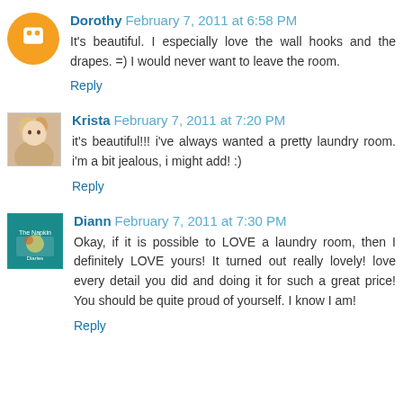Dorothy February 7, 2011 at 6:58 PM
It's beautiful. I especially love the wall hooks and the drapes. =) I would never want to leave the room.
Reply
Krista February 7, 2011 at 7:20 PM
it's beautiful!!! i've always wanted a pretty laundry room. i'm a bit jealous, i might add! :)
Reply
Diann February 7, 2011 at 7:30 PM
Okay, if it is possible to LOVE a laundry room, then I definitely LOVE yours! It turned out really lovely! love every detail you did and doing it for such a great price! You should be quite proud of yourself. I know I am!
Reply